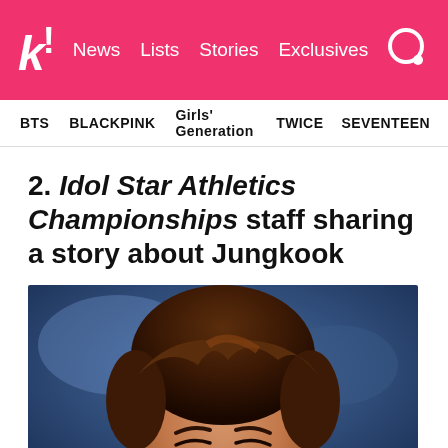k! News Lists Stories Exclusives
BTS  BLACKPINK  Girls' Generation  TWICE  SEVENTEEN
2. Idol Star Athletics Championships staff sharing a story about Jungkook
[Figure (photo): Close-up photo of Jungkook (BTS member) smiling, with dark brown hair, blurred blue background, wearing an earring]